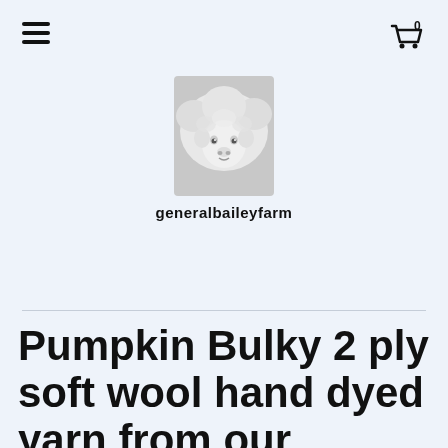generalbaileyfarm
[Figure (photo): Close-up photo of a white sheep's face looking forward]
Pumpkin Bulky 2 ply soft wool hand dyed yarn from our American farm free shipping offer